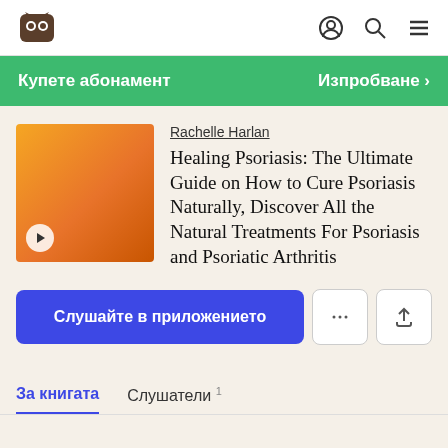[Figure (screenshot): App navigation bar with logo (owl/cat mascot icon), user profile icon, search icon, and hamburger menu icon]
Купете абонамент
Изпробване >
[Figure (illustration): Book cover with orange-gradient background and a play button in the bottom-left corner]
Rachelle Harlan
Healing Psoriasis: The Ultimate Guide on How to Cure Psoriasis Naturally, Discover All the Natural Treatments For Psoriasis and Psoriatic Arthritis
Слушайте в приложението
За книгата
Слушатели 1